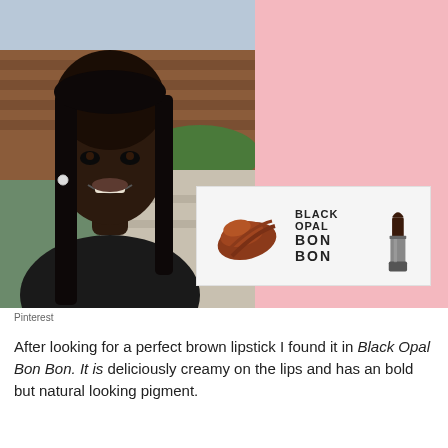[Figure (photo): Left half: young Black woman smiling, wearing black outfit with pearl earring, long straight dark hair, outdoors near brick building. Right half: pink background. Overlaid product card showing Black Opal Bon Bon lipstick swatch and lipstick tube.]
Pinterest
After looking for a perfect brown lipstick I found it in Black Opal Bon Bon. It is deliciously creamy on the lips and has an bold but natural looking pigment.